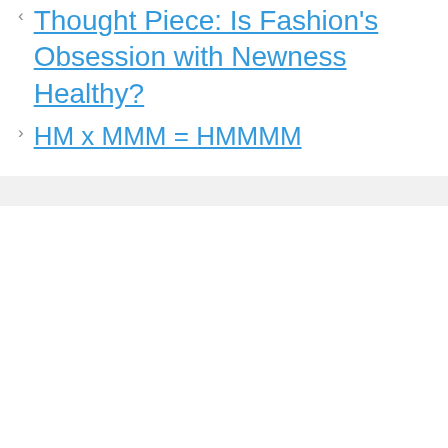Thought Piece: Is Fashion's Obsession with Newness Healthy?
HM x MMM = HMMMM